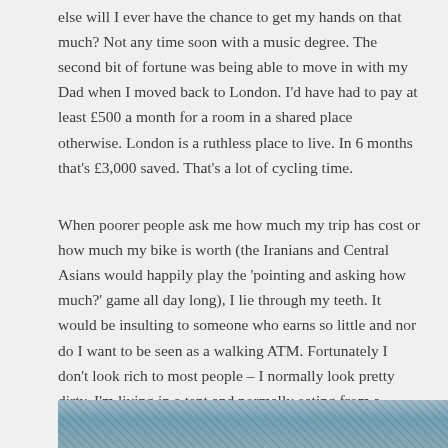else will I ever have the chance to get my hands on that much? Not any time soon with a music degree. The second bit of fortune was being able to move in with my Dad when I moved back to London. I'd have had to pay at least £500 a month for a room in a shared place otherwise. London is a ruthless place to live. In 6 months that's £3,000 saved. That's a lot of cycling time.
When poorer people ask me how much my trip has cost or how much my bike is worth (the Iranians and Central Asians would happily play the 'pointing and asking how much?' game all day long), I lie through my teeth. It would be insulting to someone who earns so little and nor do I want to be seen as a walking ATM. Fortunately I don't look rich to most people – I normally look pretty dirty, I'm living in a tent and normally eating from a plastic bag at the side of the road. Hardly the five-star rockstar.
[Figure (photo): Partial photo visible at the bottom of the page, appears to show a natural outdoor scene with blue/teal tones.]